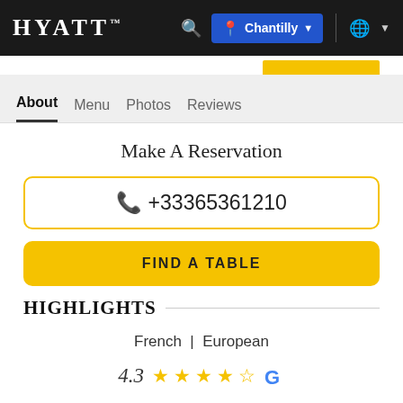HYATT™ — Chantilly
About | Menu | Photos | Reviews
Make A Reservation
+33365361210
FIND A TABLE
HIGHLIGHTS
French | European
4.3 ★★★★½ G